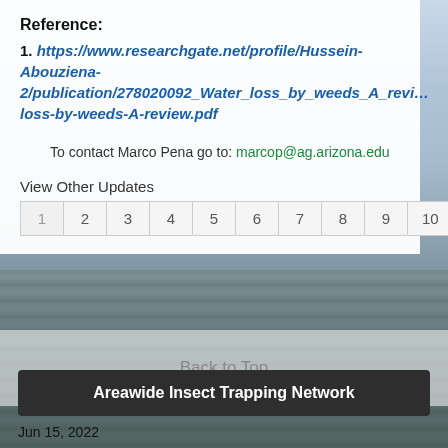Reference:
1. https://www.researchgate.net/profile/Hussein-Abouziena-2/publication/278020092_Water_loss_by_weeds_A_revi…loss-by-weeds-A-review.pdf
To contact Marco Pena go to: marcop@ag.arizona.edu
View Other Updates
1 2 3 4 5 6 7 8 9 10 »
Back to Top
Areawide Insect Trapping Network
Jun 15, 2022